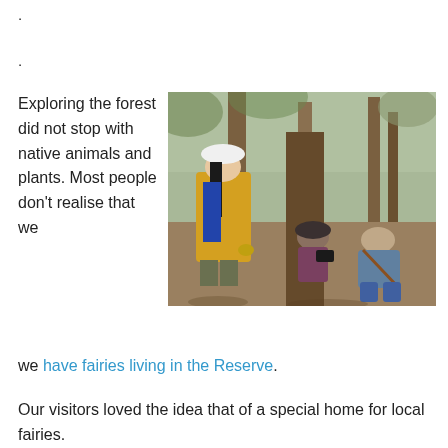.
.
Exploring the forest did not stop with native animals and plants. Most people don't realise that we have fairies living in the Reserve.
[Figure (photo): Three people crouching and examining the base of a large tree in a native Australian forest. One person stands wearing a yellow jacket and white hat, two others crouch near the tree base with a camera.]
Our visitors loved the idea that of a special home for local fairies.